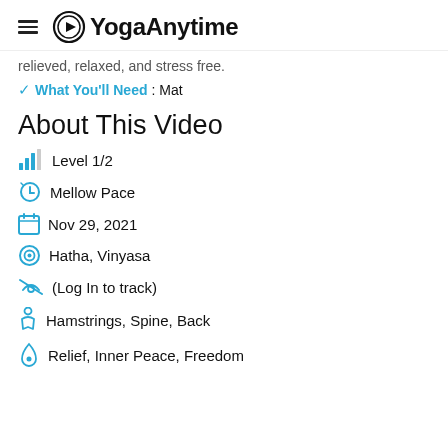YogaAnytime
relieved, relaxed, and stress free.
✓ What You'll Need: Mat
About This Video
Level 1/2
Mellow Pace
Nov 29, 2021
Hatha, Vinyasa
(Log In to track)
Hamstrings, Spine, Back
Relief, Inner Peace, Freedom